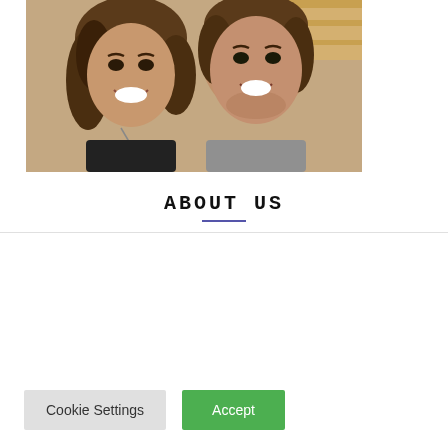[Figure (photo): Photo of a smiling couple, a woman with curly hair wearing a black top and a man with curly hair wearing a gray shirt, taking a selfie.]
ABOUT US
We use cookies on our website to give you the most relevant experience by remembering your preferences and repeat visits. By clicking “Accept”, you consent to the use of ALL the cookies.
Do not sell my personal information.